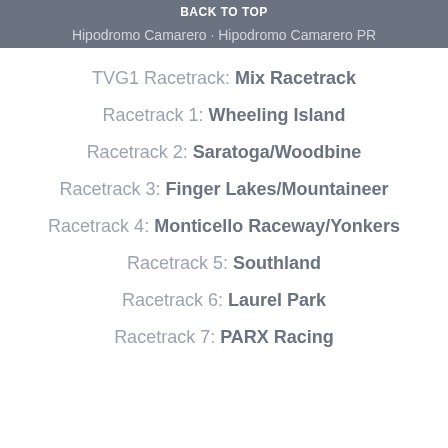BACK TO TOP
Hipodromo Camarero · Hipodromo Camarero PR
TVG1 Racetrack: Mix Racetrack
Racetrack 1: Wheeling Island
Racetrack 2: Saratoga/Woodbine
Racetrack 3: Finger Lakes/Mountaineer
Racetrack 4: Monticello Raceway/Yonkers
Racetrack 5: Southland
Racetrack 6: Laurel Park
Racetrack 7: PARX Racing